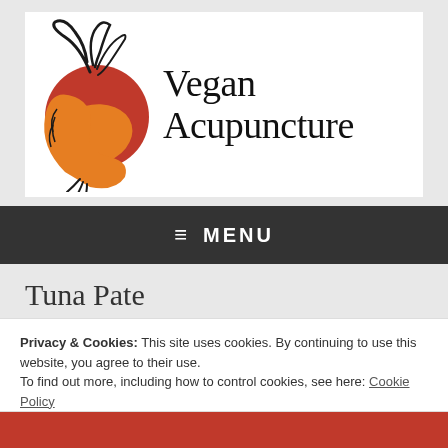[Figure (logo): Vegan Acupuncture logo: a stylized phoenix/bird illustration in orange and red with black ink details, next to the text 'Vegan Acupuncture' in decorative serif font]
≡  MENU
Tuna Pate
Privacy & Cookies: This site uses cookies. By continuing to use this website, you agree to their use.
To find out more, including how to control cookies, see here: Cookie Policy
Close and accept